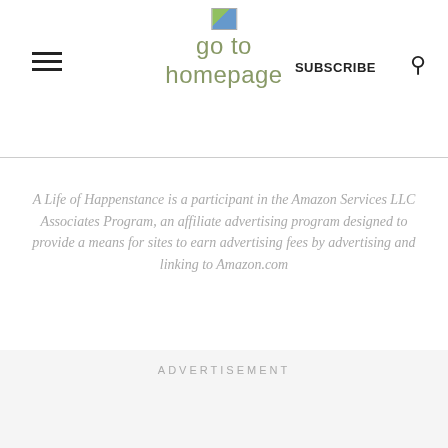go to homepage
A Life of Happenstance is a participant in the Amazon Services LLC Associates Program, an affiliate advertising program designed to provide a means for sites to earn advertising fees by advertising and linking to Amazon.com
ADVERTISEMENT